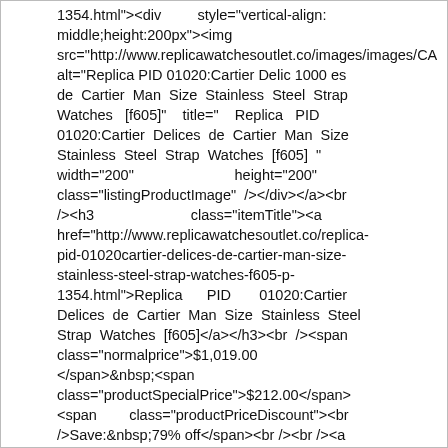1354.html"><div style="vertical-align: middle;height:200px"><img src="http://www.replicawatchesoutlet.co/images/images/CART alt="Replica PID 01020:Cartier Delic 1000 es de Cartier Man Size Stainless Steel Strap Watches [f605]" title=" Replica PID 01020:Cartier Delices de Cartier Man Size Stainless Steel Strap Watches [f605] " width="200" height="200" class="listingProductImage" /></div></a><br /><h3 class="itemTitle"><a href="http://www.replicawatchesoutlet.co/replica-pid-01020cartier-delices-de-cartier-man-size-stainless-steel-strap-watches-f605-p-1354.html">Replica PID 01020:Cartier Delices de Cartier Man Size Stainless Steel Strap Watches [f605]</a></h3><br /><span class="normalprice">$1,019.00 </span>&nbsp;<span class="productSpecialPrice">$212.00</span> <span class="productPriceDiscount"><br />Save:&nbsp;79% off</span><br /><br /><a href="http://www.replicawatchesoutlet.co/cartier-c-19/?action=buy_now&amp;products_id=1354&amp;sort=20a"><span class="cssButton normal_button button button_buy_now" onmouseover="this.className='cssButtonHover normal_button button button_buy_now button_buy_nowHover'"